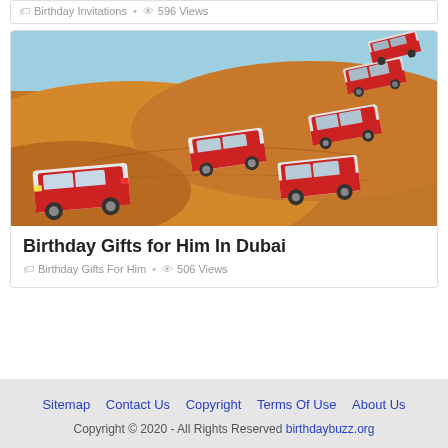Birthday Invitations • 596 Views
[Figure (photo): Several red and white GMC SUVs driving across orange sand dunes in Dubai desert]
Birthday Gifts for Him In Dubai
Birthday Gifts For Him • 506 Views
Sitemap   Contact Us   Copyright   Terms Of Use   About Us
Copyright © 2020 - All Rights Reserved birthdaybuzz.org